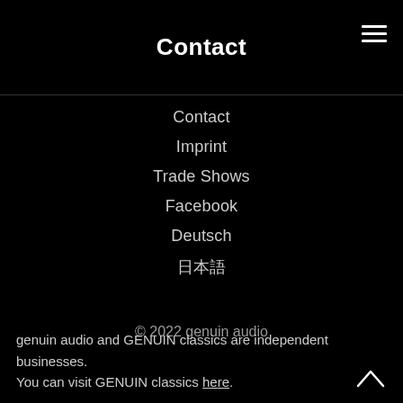Contact
Contact
Imprint
Trade Shows
Facebook
Deutsch
日本語
© 2022 genuin audio
genuin audio and GENUIN classics are independent businesses. You can visit GENUIN classics here.